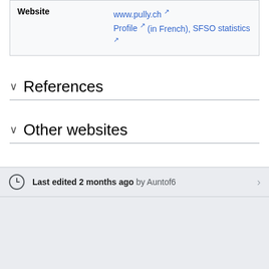| Website |  |
| --- | --- |
| Website | www.pully.ch ↗ Profile ↗ (in French), SFSO statistics ↗ |
References
Other websites
Last edited 2 months ago by Auntof6